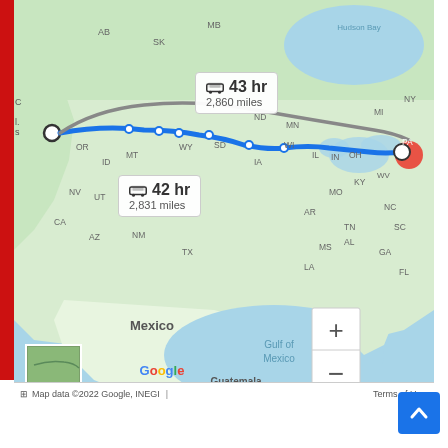[Figure (map): Google Maps screenshot showing driving directions from Los Angeles, CA to the US East Coast (Pennsylvania/New York area). Two route options shown: primary route (42 hr, 2,831 miles) in blue, secondary route (43 hr, 2,860 miles) in gray. Map shows North America including Canada, USA, Mexico, Gulf of Mexico, Guatemala, Nicaragua. State abbreviations visible: AB, SK, MB, MT, ND, MN, WI, MI, NY, PA, OR, ID, WY, SD, IA, IL, IN, OH, WV, NV, UT, CA, AZ, NM, TX, MO, AR, MS, LA, AL, TN, KY, NC, SC, GA, FL. Zoom controls (+/-) visible bottom right. Map data ©2022 Google, INEGI. Terms of Use link visible.]
Map data ©2022 Google, INEGI   Terms of Use